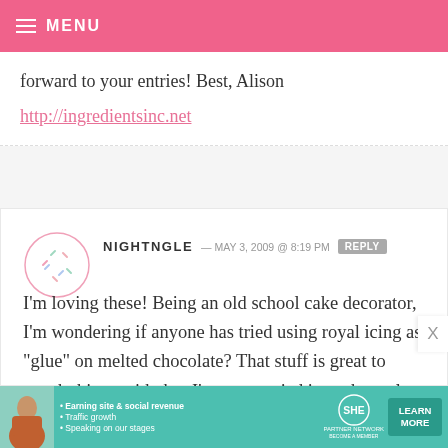MENU
forward to your entries! Best, Alison
http://ingredientsinc.net
NIGHTNGLE — MAY 3, 2009 @ 8:19 PM REPLY
I'm loving these! Being an old school cake decorator, I'm wondering if anyone has tried using royal icing as "glue" on melted chocolate? That stuff is great to attach things with, but I've never tried it on the melts.
[Figure (infographic): SHE Partner Network advertisement banner with woman photo, bullet points about earning site & social revenue, traffic growth, speaking on our stages, and a Learn More button]